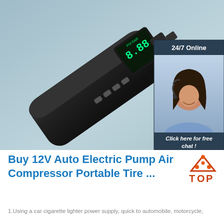[Figure (photo): Product photo of a black 12V portable auto electric air compressor/tire pump with digital display, shown on a light blue-grey background. A 24/7 online chat widget overlay appears on the right side with a female customer service agent wearing a headset.]
Buy 12V Auto Electric Pump Air Compressor Portable Tire ...
[Figure (logo): TOP logo — orange triangle/hat shape with red and orange dots, with the word TOP in bold letters]
1.Using a car cigarette lighter power supply, quick to automobile, motorcycle,